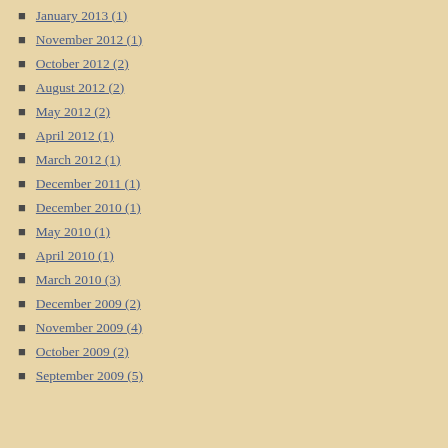January 2013 (1)
November 2012 (1)
October 2012 (2)
August 2012 (2)
May 2012 (2)
April 2012 (1)
March 2012 (1)
December 2011 (1)
December 2010 (1)
May 2010 (1)
April 2010 (1)
March 2010 (3)
December 2009 (2)
November 2009 (4)
October 2009 (2)
September 2009 (5)